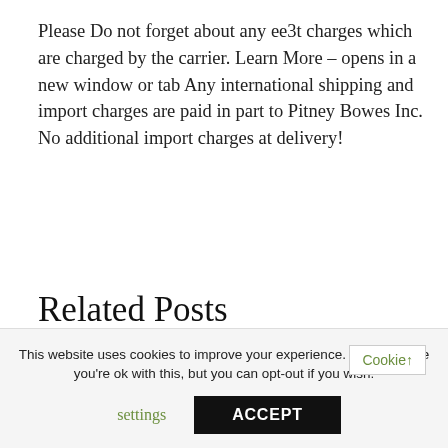Please Do not forget about any ee3t charges which are charged by the carrier. Learn More – opens in a new window or tab Any international shipping and import charges are paid in part to Pitney Bowes Inc. No additional import charges at delivery!
Related Posts
BAUMER CH 8501 PDF
FP6321 DATASHEET PDF
This website uses cookies to improve your experience. We'll assume you're ok with this, but you can opt-out if you wish. Cookie settings ACCEPT